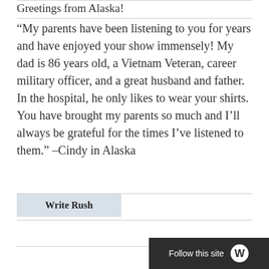Greetings from Alaska!
“My parents have been listening to you for years and have enjoyed your show immensely! My dad is 86 years old, a Vietnam Veteran, career military officer, and a great husband and father. In the hospital, he only likes to wear your shirts. You have brought my parents so much and I’ll always be grateful for the times I’ve listened to them.” –Cindy in Alaska
Write Rush
Follow this site